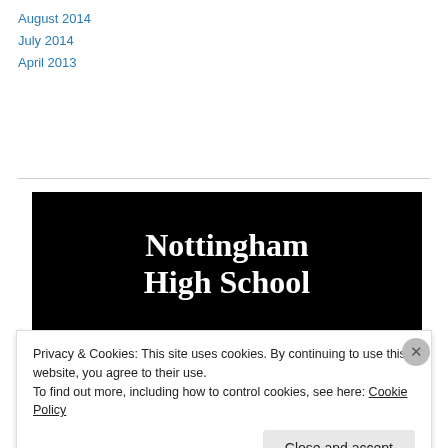August 2014
July 2014
April 2013
[Figure (screenshot): Black background image showing 'Nottingham High School' in large white serif bold text centered, and below 'John Knifton' in white serif text]
Privacy & Cookies: This site uses cookies. By continuing to use this website, you agree to their use.
To find out more, including how to control cookies, see here: Cookie Policy
Close and accept